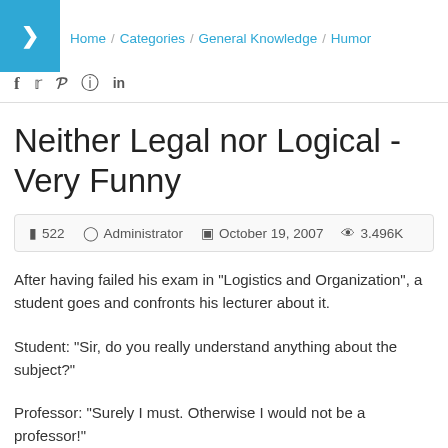> Home / Categories / General Knowledge / Humor
f  ♥  p  ◎  in
Neither Legal nor Logical - Very Funny
■ 522   ⊙ Administrator   □ October 19, 2007   👁 3.496K
After having failed his exam in "Logistics and Organization", a student goes and confronts his lecturer about it.
Student: "Sir, do you really understand anything about the subject?"
Professor: "Surely I must. Otherwise I would not be a professor!"